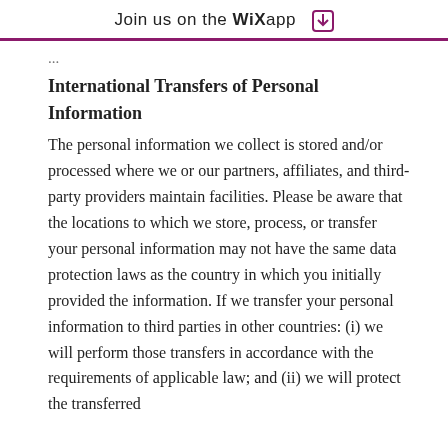Join us on the WiX app
International Transfers of Personal Information
The personal information we collect is stored and/or processed where we or our partners, affiliates, and third-party providers maintain facilities. Please be aware that the locations to which we store, process, or transfer your personal information may not have the same data protection laws as the country in which you initially provided the information. If we transfer your personal information to third parties in other countries: (i) we will perform those transfers in accordance with the requirements of applicable law; and (ii) we will protect the transferred